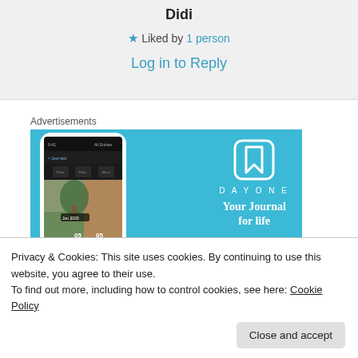Didi
★ Liked by 1 person
Log in to Reply
Advertisements
[Figure (photo): DayOne app advertisement showing a phone mockup on a blue background with the DayOne logo and slogan 'Your Journal for life']
Privacy & Cookies: This site uses cookies. By continuing to use this website, you agree to their use.
To find out more, including how to control cookies, see here: Cookie Policy
Close and accept